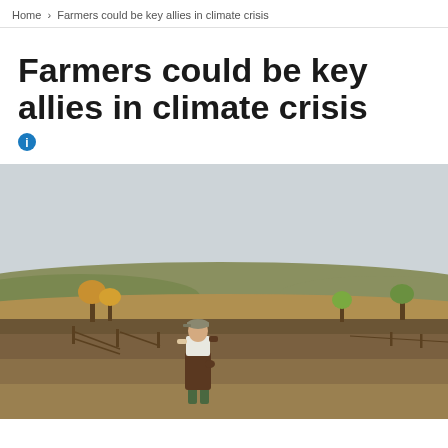Home > Farmers could be key allies in climate crisis
Farmers could be key allies in climate crisis
[Figure (photo): A farmer in overalls and boots standing in an open field with sparse trees in autumn colors and rolling hills in the background under a pale sky.]